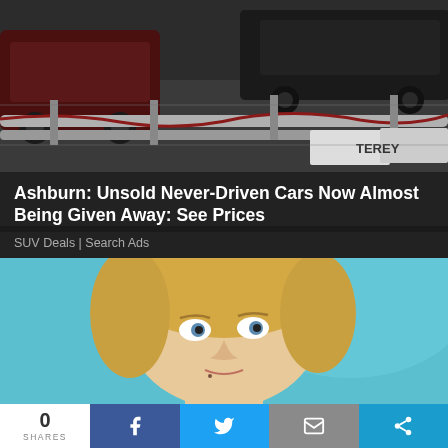[Figure (photo): Aerial or elevated view of unsold cars in a lot, with metal barriers/fencing visible, partial text 'TEREY' on a sign]
Ashburn: Unsold Never-Driven Cars Now Almost Being Given Away: See Prices
SUV Deals | Search Ads
[Figure (photo): Close-up of a blonde woman with wide eyes against a bright teal/blue background]
0 SHARES  [Facebook share]  [Twitter share]  [Email share]  [More share]